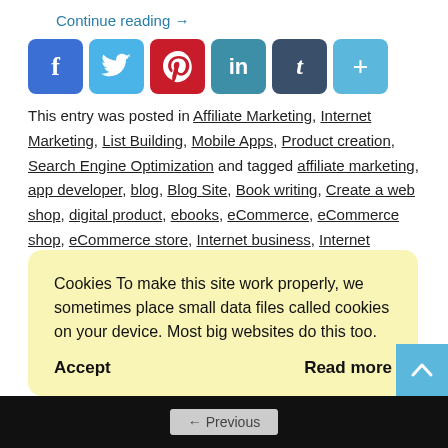Continue reading →
[Figure (infographic): Social media share buttons: Facebook (blue), Twitter (light blue), Pinterest (red), LinkedIn (teal), Tumblr (dark blue-grey), More/Plus (light blue)]
This entry was posted in Affiliate Marketing, Internet Marketing, List Building, Mobile Apps, Product creation, Search Engine Optimization and tagged affiliate marketing, app developer, blog, Blog Site, Book writing, Create a web shop, digital product, ebooks, eCommerce, eCommerce shop, eCommerce store, Internet business, Internet marketing, list building, Search engine optimization, Self-publish eBook, WordPress, WordPress blog, YouTube, YouTube channel on January 1, 2021.
Cookies To make this site work properly, we sometimes place small data files called cookies on your device. Most big websites do this too.
Accept   Read more